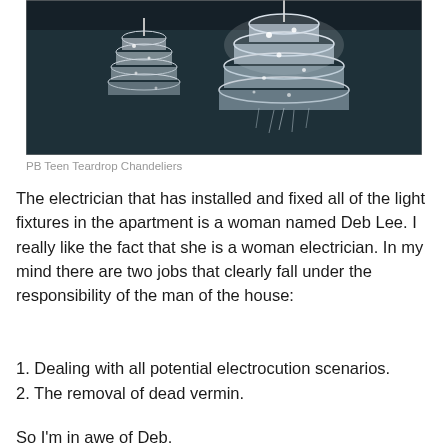[Figure (photo): Two crystal teardrop chandeliers hanging in a dark-walled room. A large one in the center-right and a smaller one to the left.]
PB Teen Teardrop Chandeliers
The electrician that has installed and fixed all of the light fixtures in the apartment is a woman named Deb Lee. I really like the fact that she is a woman electrician. In my mind there are two jobs that clearly fall under the responsibility of the man of the house:
1. Dealing with all potential electrocution scenarios.
2. The removal of dead vermin.
So I'm in awe of Deb.